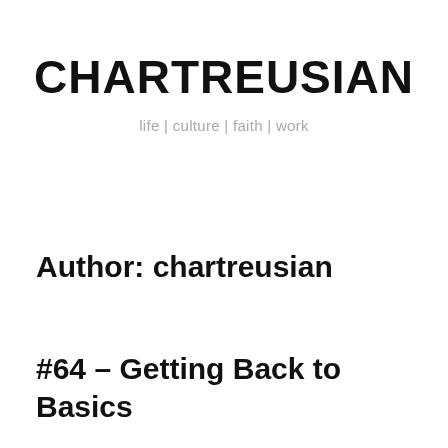CHARTREUSIAN
life | culture | faith | work
Author: chartreusian
#64 – Getting Back to Basics